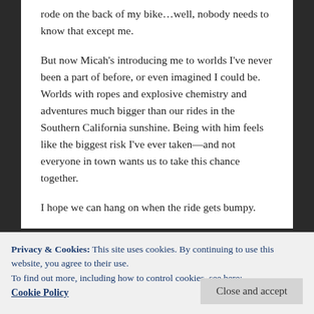rode on the back of my bike...well, nobody needs to know that except me.

But now Micah's introducing me to worlds I've never been a part of before, or even imagined I could be. Worlds with ropes and explosive chemistry and adventures much bigger than our rides in the Southern California sunshine. Being with him feels like the biggest risk I've ever taken—and not everyone in town wants us to take this chance together.

I hope we can hang on when the ride gets bumpy.
Privacy & Cookies: This site uses cookies. By continuing to use this website, you agree to their use.
To find out more, including how to control cookies, see here:
Cookie Policy
Close and accept